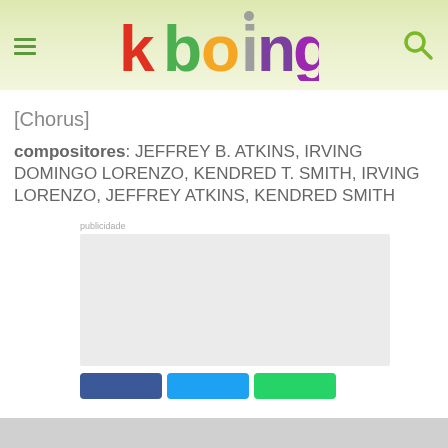[Figure (logo): kboing colorful logo with hamburger menu icon on left and search icon on right, on a light green/yellow gradient header background]
[Chorus]
compositores: JEFFREY B. ATKINS, IRVING DOMINGO LORENZO, KENDRED T. SMITH, IRVING LORENZO, JEFFREY ATKINS, KENDRED SMITH
publicidade
[Figure (other): Gray advertisement placeholder box]
[Figure (other): Social share buttons: Facebook (blue), Twitter (light blue), WhatsApp (green)]